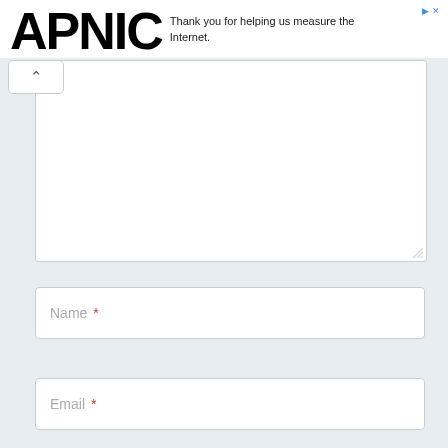APNIC — Thank you for helping us measure the Internet.
[Figure (screenshot): Large empty textarea input box with resize handle in bottom-right corner]
Name *
Email *